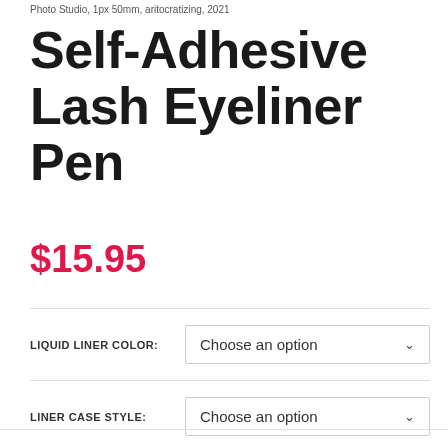Photo Studio, 1px 50mm, aritocratizing, 2021
Self-Adhesive Lash Eyeliner Pen
$15.95
LIQUID LINER COLOR: Choose an option
LINER CASE STYLE: Choose an option